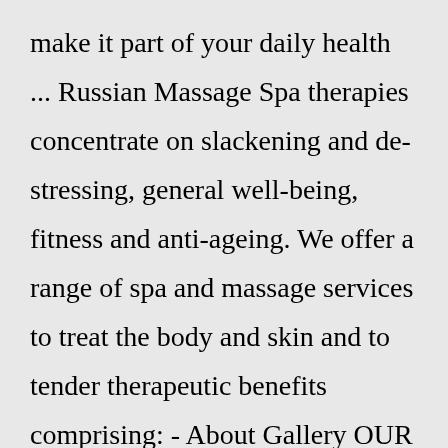make it part of your daily health ... Russian Massage Spa therapies concentrate on slackening and de-stressing, general well-being, fitness and anti-ageing. We offer a range of spa and massage services to treat the body and skin and to tender therapeutic benefits comprising: - About Gallery OUR LOCATION OPENING HOURS Sunday - Monday Tuesday - Wednesday Thursday - Friday Saturday5 Stars Arabic Russian Massage Parlour Amenity New Delhi